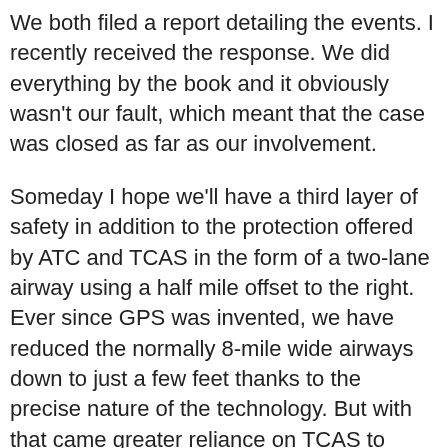We both filed a report detailing the events. I recently received the response. We did everything by the book and it obviously wasn't our fault, which meant that the case was closed as far as our involvement.
Someday I hope we'll have a third layer of safety in addition to the protection offered by ATC and TCAS in the form of a two-lane airway using a half mile offset to the right. Ever since GPS was invented, we have reduced the normally 8-mile wide airways down to just a few feet thanks to the precise nature of the technology. But with that came greater reliance on TCAS to keep us out of trouble. I wrote about an inexpensive offset airway proposal previously and I'd love for the FAA to take another look at it. Adding layers to our safety net is what has made air travel so much more safe than in the early years of flying.
Cockpit Chronicles takes you along on some of Kent's trips as an international co-pilot on the Boeing 757 and 767 based in